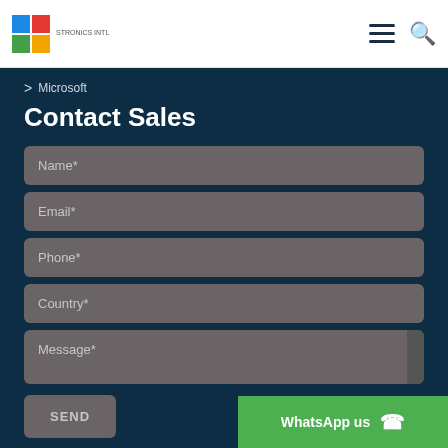> Microsoft
Contact Sales
Name*
Email*
Phone*
Country*
Message*
SEND
WhatsApp us